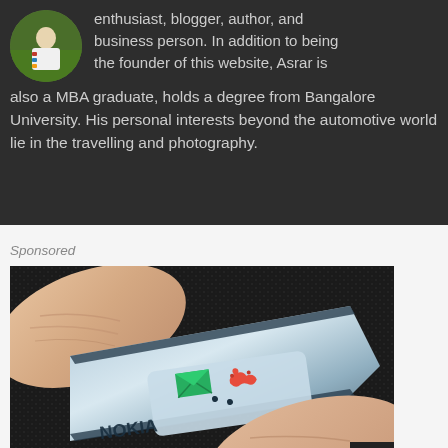[Figure (photo): Circular avatar photo of a person standing on grass wearing colorful attire]
enthusiast, blogger, author, and business person. In addition to being the founder of this website, Asrar is also a MBA graduate, holds a degree from Bangalore University. His personal interests beyond the automotive world lie in the travelling and photography.
Sponsored
[Figure (photo): Close-up photo of fingers pressing a Nokia phone showing green envelope and red phone icons on the keypad]